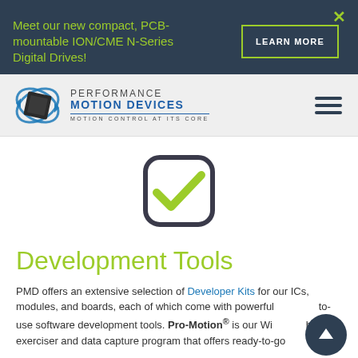Meet our new compact, PCB-mountable ION/CME N-Series Digital Drives!
LEARN MORE
[Figure (logo): Performance Motion Devices logo with chip graphic and tagline 'Motion Control At Its Core']
[Figure (illustration): Green checkmark inside a rounded-square checkbox icon]
Development Tools
PMD offers an extensive selection of Developer Kits for our ICs, modules, and boards, each of which come with powerful ready-to-use software development tools. Pro-Motion® is our Win... based exerciser and data capture program that offers ready-to-go